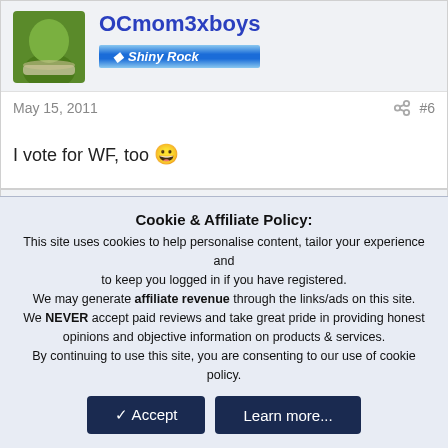OCmom3xboys
Shiny Rock
May 15, 2011
#6
I vote for WF, too 🙂
AmeliaG
Brilliant
Cookie & Affiliate Policy: This site uses cookies to help personalise content, tailor your experience and to keep you logged in if you have registered. We may generate affiliate revenue through the links/ads on this site. We NEVER accept paid reviews and take great pride in providing honest opinions and objective information on products & services. By continuing to use this site, you are consenting to our use of cookie policy.
Accept
Learn more...